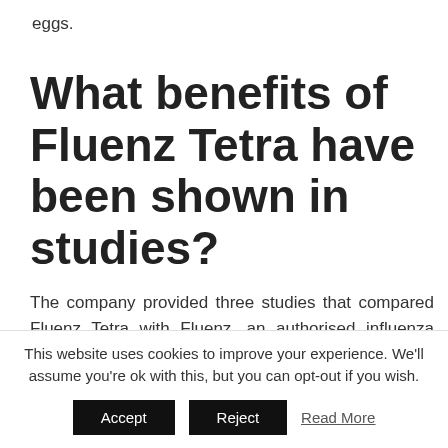eggs.
What benefits of Fluenz Tetra have been shown in studies?
The company provided three studies that compared Fluenz Tetra with Fluenz, an authorised influenza vaccine that contains three of the four strains of influenza in Fluenz Tetra and whose effectiveness is
This website uses cookies to improve your experience. We'll assume you're ok with this, but you can opt-out if you wish.